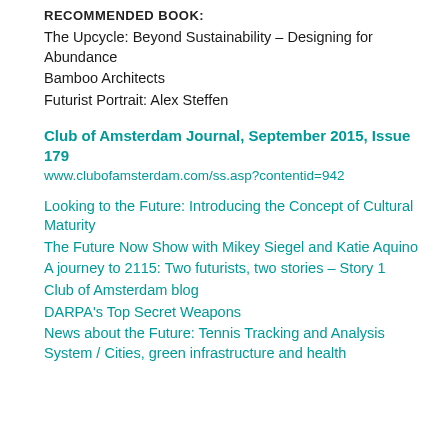RECOMMENDED BOOK:
The Upcycle: Beyond Sustainability – Designing for Abundance
Bamboo Architects
Futurist Portrait: Alex Steffen
Club of Amsterdam Journal, September 2015, Issue 179
www.clubofamsterdam.com/ss.asp?contentid=942
Looking to the Future: Introducing the Concept of Cultural Maturity
The Future Now Show with Mikey Siegel and Katie Aquino
A journey to 2115: Two futurists, two stories – Story 1
Club of Amsterdam blog
DARPA's Top Secret Weapons
News about the Future: Tennis Tracking and Analysis System / Cities, green infrastructure and health